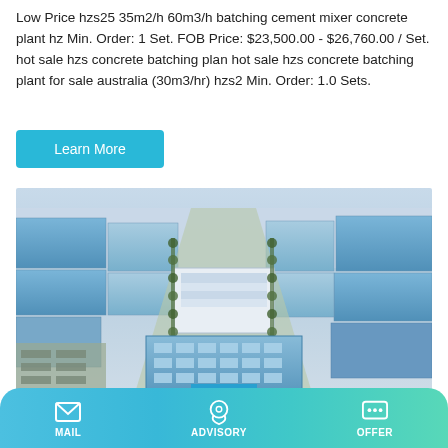Low Price hzs25 35m2/h 60m3/h batching cement mixer concrete plant hz Min. Order: 1 Set. FOB Price: $23,500.00 - $26,760.00 / Set. hot sale hzs concrete batching plan hot sale hzs concrete batching plant for sale australia (30m3/hr) hzs2 Min. Order: 1.0 Sets.
[Figure (other): Aerial view of a large industrial factory complex with blue-roofed warehouses, tree-lined roads, and a multi-story office building in the foreground]
MAIL   ADVISORY   OFFER